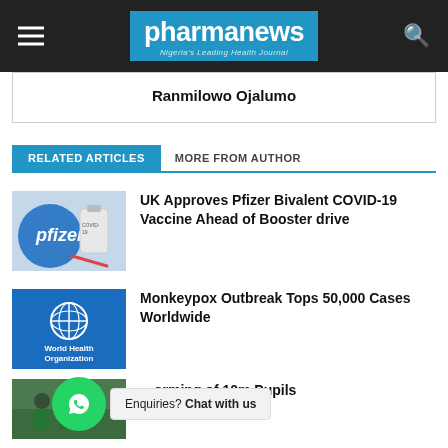pharmanews — Nigeria's Leading Health Journal
Ranmilowo Ojalumo
RELATED ARTICLES | MORE FROM AUTHOR
[Figure (photo): Pfizer COVID-19 vaccine vial and syringe with Pfizer logo in background]
UK Approves Pfizer Bivalent COVID-19 Vaccine Ahead of Booster drive
[Figure (logo): World Health Organization logo on blue background]
Monkeypox Outbreak Tops 50,000 Cases Worldwide
[Figure (photo): Children receiving vaccination — partial image]
...orming of 10m Pupils
Enquiries? Chat with us